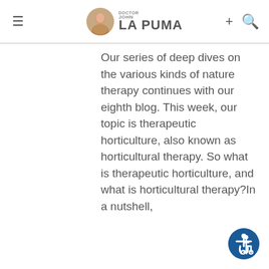Doctor John La Puma
Our series of deep dives on the various kinds of nature therapy continues with our eighth blog. This week, our topic is therapeutic horticulture, also known as horticultural therapy. So what is therapeutic horticulture, and what is horticultural therapy?In a nutshell,